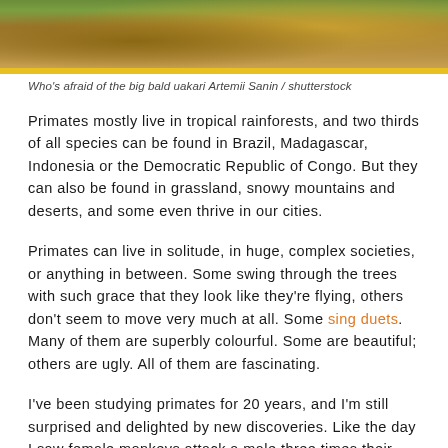[Figure (photo): Close-up photo of a bald uakari monkey, showing brown/orange fur and reddish face, cropped at top of page with yellow bar border at bottom]
Who's afraid of the big bald uakari Artemii Sanin / shutterstock
Primates mostly live in tropical rainforests, and two thirds of all species can be found in Brazil, Madagascar, Indonesia or the Democratic Republic of Congo. But they can also be found in grassland, snowy mountains and deserts, and some even thrive in our cities.
Primates can live in solitude, in huge, complex societies, or anything in between. Some swing through the trees with such grace that they look like they're flying, others don't seem to move very much at all. Some sing duets. Many of them are superbly colourful. Some are beautiful; others are ugly. All of them are fascinating.
I've been studying primates for 20 years, and I'm still surprised and delighted by new discoveries. Like the day I saw female monkeys attack a male three times their size. Or when I learned